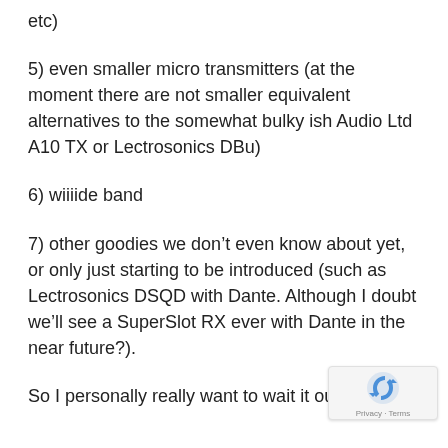etc)
5) even smaller micro transmitters (at the moment there are not smaller equivalent alternatives to the somewhat bulky ish Audio Ltd A10 TX or Lectrosonics DBu)
6) wiiiide band
7) other goodies we don’t even know about yet, or only just starting to be introduced (such as Lectrosonics DSQD with Dante. Although I doubt we’ll see a SuperSlot RX ever with Dante in the near future?).
So I personally really want to wait it out for a